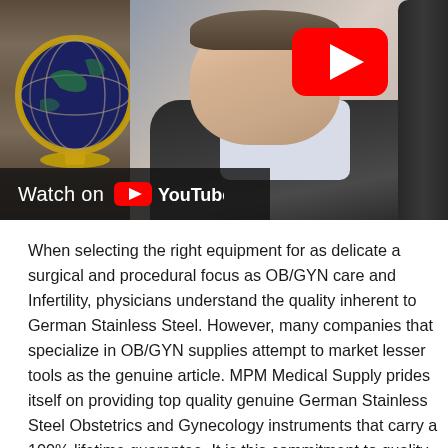[Figure (screenshot): YouTube video thumbnail showing a man in a suit seated at a desk with a decorative globe on the left. A red YouTube play button is visible in the upper right of the video. At the bottom left is a dark 'Watch on YouTube' overlay bar with the YouTube logo.]
When selecting the right equipment for as delicate a surgical and procedural focus as OB/GYN care and Infertility, physicians understand the quality inherent to German Stainless Steel. However, many companies that specialize in OB/GYN supplies attempt to market lesser tools as the genuine article. MPM Medical Supply prides itself on providing top quality genuine German Stainless Steel Obstetrics and Gynecology instruments that carry a 100% lifetime guarantee. It is this commitment to quality